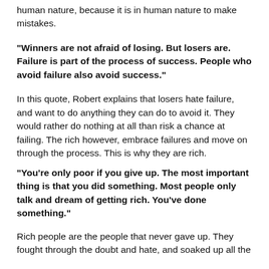human nature, because it is in human nature to make mistakes.
“Winners are not afraid of losing. But losers are. Failure is part of the process of success. People who avoid failure also avoid success.”
In this quote, Robert explains that losers hate failure, and want to do anything they can do to avoid it. They would rather do nothing at all than risk a chance at failing. The rich however, embrace failures and move on through the process. This is why they are rich.
“You’re only poor if you give up. The most important thing is that you did something. Most people only talk and dream of getting rich. You’ve done something.”
Rich people are the people that never gave up. They fought through the doubt and hate, and soaked up all the